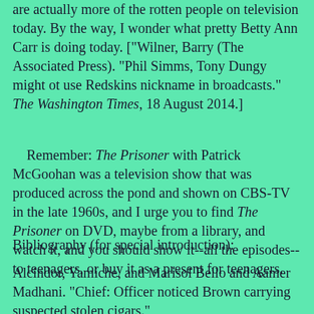minute. Phil Simms and Tony Dungy are actually more of the rotten people on television today. By the way, I wonder what pretty Betty Ann Carr is doing today. ["Wilner, Barry (The Associated Press). "Phil Simms, Tony Dungy might ot use Redskins nickname in broadcasts." The Washington Times, 18 August 2014.]
Remember: The Prisoner with Patrick McGoohan was a television show that was produced across the pond and shown on CBS-TV in the late 1960s, and I urge you to find The Prisoner on DVD, maybe from a library, and watch it, and you should show it--all the episodes--to teenagers, or buy it as a present for teenagers.
Bibliography (for special introduction):
Alcindor, Yamiche, and Marisol Bello and Aamer Madhani. "Chief: Officer noticed Brown carrying suspected stolen cigars."